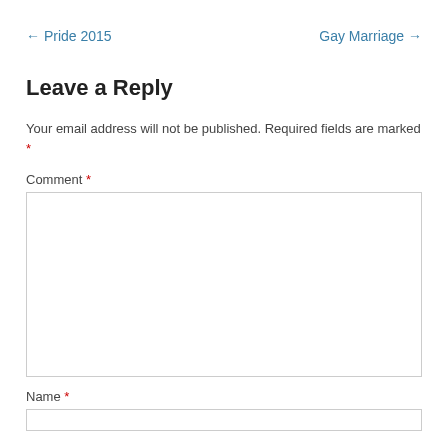← Pride 2015
Gay Marriage →
Leave a Reply
Your email address will not be published. Required fields are marked *
Comment *
Name *